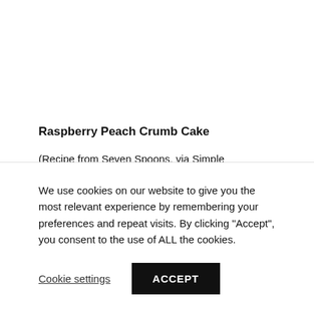Raspberry Peach Crumb Cake
(Recipe from Seven Spoons, via Simple Pleasures. It was originally adapted from Inn Cuisine.)
We use cookies on our website to give you the most relevant experience by remembering your preferences and repeat visits. By clicking “Accept”, you consent to the use of ALL the cookies.
Cookie settings
ACCEPT